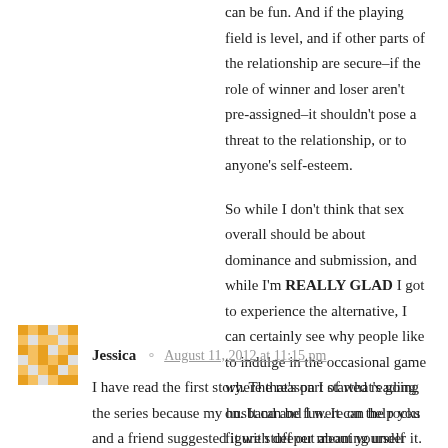can be fun. And if the playing field is level, and if other parts of the relationship are secure–if the role of winner and loser aren't pre-assigned–it shouldn't pose a threat to the relationship, or to anyone's self-esteem.

So while I don't think that sex overall should be about dominance and submission, and while I'm REALLY GLAD I got to experience the alternative, I can certainly see why people like to indulge in the occasional game where that's part of what's going on. It can be fun. It can help you figure stuff out about yourself and your partner. If nothing else, it can help you see what's cool about sex without it.
Reply
Jessica  August 11, 2012 at 11:15 pm
I have read the first story. The reason I started reading the series because my husband and I were on the rocks and a friend suggested it with deeper meaning under it. My husband was going through some troubling things of his own and it was